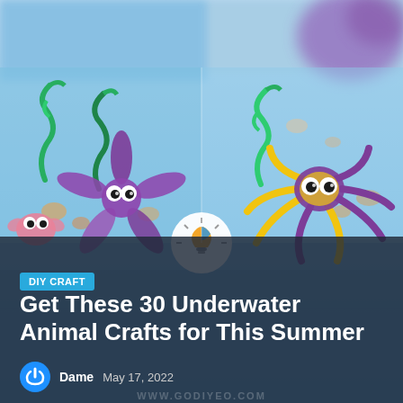[Figure (photo): Two-panel collage of underwater animal crafts made from pipe cleaners. Left panel: purple starfish craft with googly eyes and a pink crab-like creature, blue ocean-themed background with green seaweed and shells. Right panel: yellow and purple pipe cleaner octopus/spider craft with googly eyes, same ocean background. A circular logo with a lightbulb icon is centered at the dividing line.]
DIY CRAFT
Get These 30 Underwater Animal Crafts for This Summer
Dame    May 17, 2022
WWW.GODIYEO.COM